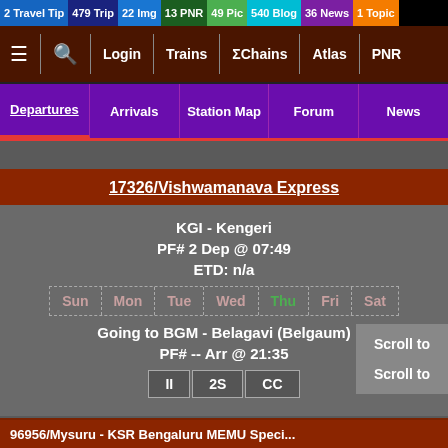2 Travel Tip | 479 Trip | 22 Img | 13 PNR | 49 Pic | 540 Blog | 36 News | 1 Topic
≡ | 🔍 | Login | Trains | ΣChains | Atlas | PNR
Departures | Arrivals | Station Map | Forum | News
17326/Vishwamanava Express
KGI - Kengeri
PF# 2 Dep @ 07:49
ETD: n/a
Sun Mon Tue Wed Thu Fri Sat
Going to BGM - Belagavi (Belgaum)
PF# -- Arr @ 21:35
II | 2S | CC
Dest Changed. TT Updated: Aug 02 (20:51) by Vinay_Mysuru^~
Scroll to
Scroll to
96956/Mysuru - KSR Bengaluru MEMU Speci...